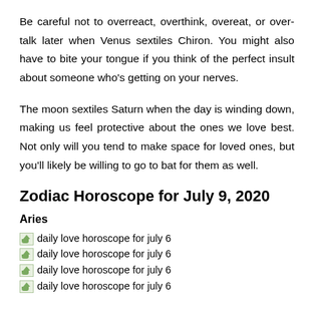Be careful not to overreact, overthink, overeat, or over-talk later when Venus sextiles Chiron. You might also have to bite your tongue if you think of the perfect insult about someone who's getting on your nerves.
The moon sextiles Saturn when the day is winding down, making us feel protective about the ones we love best. Not only will you tend to make space for loved ones, but you'll likely be willing to go to bat for them as well.
Zodiac Horoscope for July 9, 2020
Aries
daily love horoscope for july 6
daily love horoscope for july 6
daily love horoscope for july 6
daily love horoscope for july 6